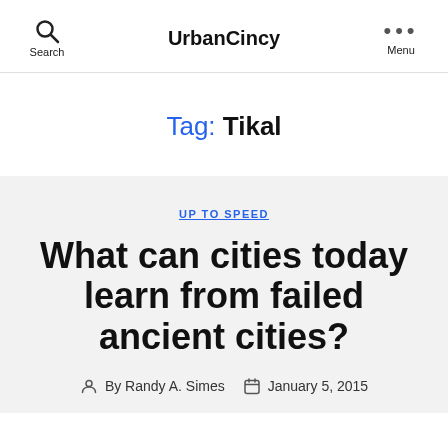Search  UrbanCincy  ••• Menu
Tag: Tikal
UP TO SPEED
What can cities today learn from failed ancient cities?
By Randy A. Simes   January 5, 2015